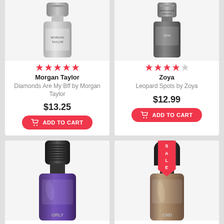[Figure (photo): Nail polish bottle - Morgan Taylor Diamonds Are My Bff, glittery silver, top portion visible]
★★★★★
Morgan Taylor
Diamonds Are My Bff by Morgan Taylor
$13.25
ADD TO CART
[Figure (photo): Nail polish bottle - Zoya Leopard Spots, dark/black, professional lacquer label, top portion visible]
★★★★☆
Zoya
Leopard Spots by Zoya
$12.99
ADD TO CART
[Figure (photo): Nail polish bottle - purple/violet metallic shimmer, black cap, bottom portion of bottle visible, brand partially visible at bottom (ORLY)]
[Figure (photo): Nail polish bottle - CND, champagne/gold/bronze metallic, dark grey cap, bottom portion visible, SALE badge present]
SALE